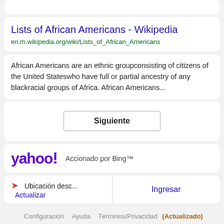Lists of African Americans - Wikipedia
en.m.wikipedia.org/wiki/Lists_of_African_Americans
African Americans are an ethnic groupconsisting of citizens of the United Stateswho have full or partial ancestry of any blackracial groups of Africa. African Americans...
Siguiente
[Figure (logo): Yahoo! logo in purple with exclamation mark, followed by 'Accionado por Bing™' text]
Ubicación desc... Actualizar
Ingresar
Configuración  Ayuda  Términos/Privacidad (Actualizado)  Privacy Dashboard